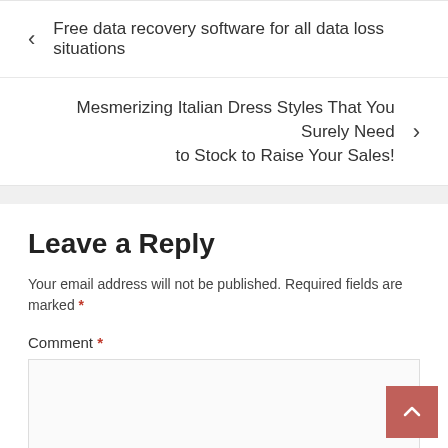< Free data recovery software for all data loss situations
Mesmerizing Italian Dress Styles That You Surely Need to Stock to Raise Your Sales! >
Leave a Reply
Your email address will not be published. Required fields are marked *
Comment *